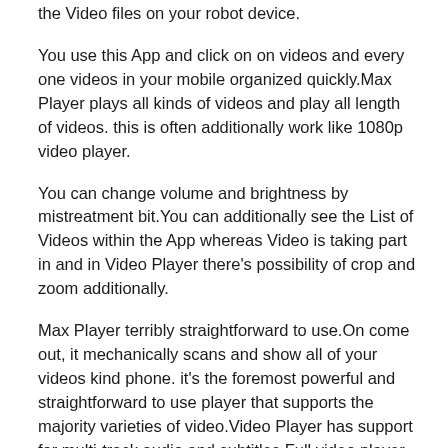the Video files on your robot device.
You use this App and click on on videos and every one videos in your mobile organized quickly.Max Player plays all kinds of videos and play all length of videos. this is often additionally work like 1080p video player.
You can change volume and brightness by mistreatment bit.You can additionally see the List of Videos within the App whereas Video is taking part in and in Video Player there's possibility of crop and zoom additionally.
Max Player terribly straightforward to use.On come out, it mechanically scans and show all of your videos kind phone. it's the foremost powerful and straightforward to use player that supports the majority varieties of video.Video Player has support for multi-track audio and subtitles.Full video player is absolutely.